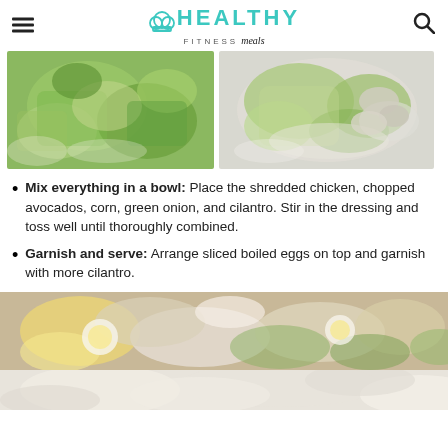HEALTHY FITNESS meals
[Figure (photo): Two photos side by side showing chopped avocado salad ingredients in bowls]
Mix everything in a bowl: Place the shredded chicken, chopped avocados, corn, green onion, and cilantro. Stir in the dressing and toss well until thoroughly combined.
Garnish and serve: Arrange sliced boiled eggs on top and garnish with more cilantro.
[Figure (photo): Close-up photo of chicken avocado salad with corn and eggs]
[Figure (photo): Close-up of salad bottom portion]